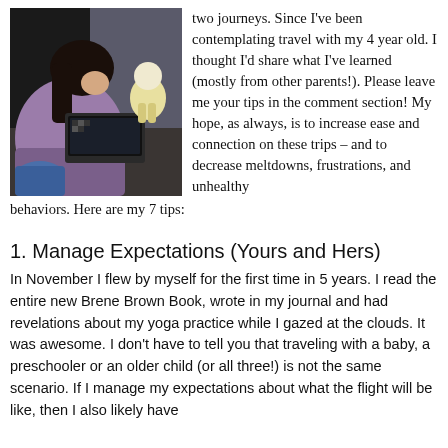[Figure (photo): A young child with dark hair sitting at a desk or table, working on something, with a small plush unicorn toy visible nearby. The scene is dimly lit.]
two journeys. Since I've been contemplating travel with my 4 year old. I thought I'd share what I've learned (mostly from other parents!).  Please leave me your tips in the comment section!  My hope, as always, is to increase ease and connection on these trips – and to decrease meltdowns, frustrations, and unhealthy behaviors. Here are my 7 tips:
1. Manage Expectations (Yours and Hers)
In November I flew by myself for the first time in 5 years. I read the entire new Brene Brown Book, wrote in my journal and had revelations about my yoga practice while I gazed at the clouds.  It was awesome.  I don't have to tell you that traveling with a baby, a preschooler or an older child (or all three!) is not the same scenario.  If I manage my expectations about what the flight will be like, then I also likely have